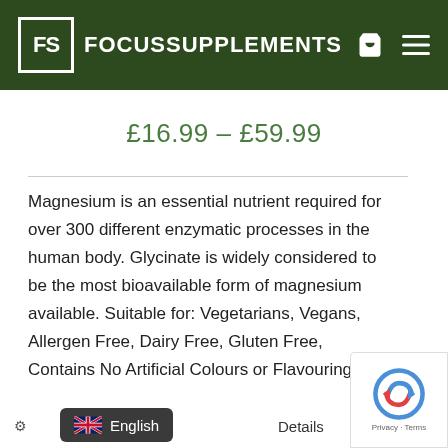FS FOCUS SUPPLEMENTS
£16.99 – £59.99
Magnesium is an essential nutrient required for over 300 different enzymatic processes in the human body. Glycinate is widely considered to be the most bioavailable form of magnesium available. Suitable for: Vegetarians, Vegans, Allergen Free, Dairy Free, Gluten Free, Contains No Artificial Colours or Flavourings.
English  Details